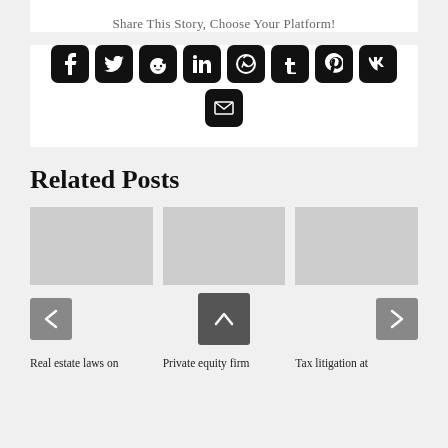Share This Story, Choose Your Platform!
[Figure (infographic): Social media sharing icons: Facebook, Twitter, Reddit, LinkedIn, WhatsApp, Tumblr, Pinterest, VK, Email]
Related Posts
[Figure (infographic): Three related post cards with image placeholders and navigation arrows. Posts titled: Real estate laws on..., Private equity firm, Tax litigation at]
Real estate laws on
Private equity firm
Tax litigation at